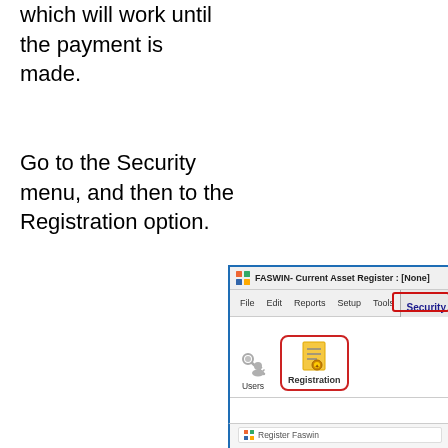which will work until the payment is made.
Go to the Security menu, and then to the Registration option.
[Figure (screenshot): Screenshot of FASWIN Current Asset Register application showing the Security menu highlighted with a red outline and the Registration button highlighted with a red rounded rectangle in the ribbon. Below is a dropdown showing Register Faswin option.]